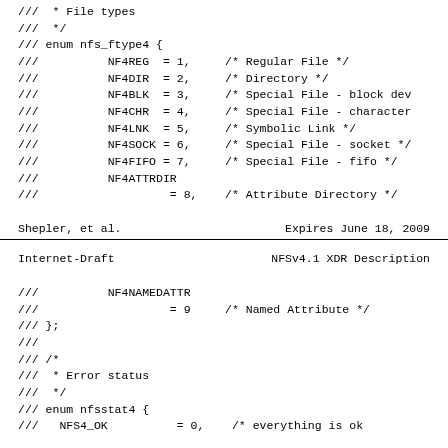///  * File types
///  */
/// enum nfs_ftype4 {
///          NF4REG  = 1,     /* Regular File */
///          NF4DIR  = 2,     /* Directory */
///          NF4BLK  = 3,     /* Special File - block dev
///          NF4CHR  = 4,     /* Special File - character
///          NF4LNK  = 5,     /* Symbolic Link */
///          NF4SOCK = 6,     /* Special File - socket */
///          NF4FIFO = 7,     /* Special File - fifo */
///          NF4ATTRDIR
///                   = 8,    /* Attribute Directory */
Shepler, et al.                    Expires June 18, 2009
Internet-Draft                     NFSv4.1 XDR Description
///          NF4NAMEDATTR
///                   = 9     /* Named Attribute */
/// };
///
/// /*
///  * Error status
///  */
/// enum nfsstat4 {
///   NFS4_OK          = 0,    /* everything is ok